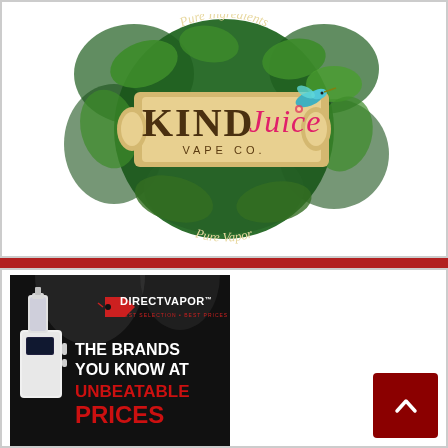[Figure (logo): Kind Juice Vape Co. logo — circular green badge with tropical leaves, 'Pure Ingredients' text at top, 'Pure Vapor' text at bottom, decorative tan/beige rectangular banner in center with 'KIND' in large serif letters and 'Juice' in pink cursive script, 'VAPE CO.' below, hummingbird on the right side]
[Figure (photo): DirectVapor advertisement — dark background with vape device/tank on left, red price tag icon, 'DIRECTVAPOR™' brand name, tagline 'THE BRANDS YOU KNOW AT UNBEATABLE PRICES' in bold white and red text]
[Figure (other): Dark red scroll-to-top button with upward chevron/caret arrow icon, positioned at bottom right]